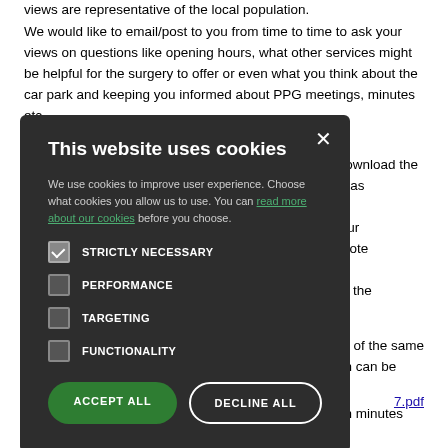views are representative of the local population.
We would like to email/post to you from time to time to ask your views on questions like opening hours, what other services might be helpful for the surgery to offer or even what you think about the car park and keeping you informed about PPG meetings, minutes etc.
To sign up to become a member of the PPG, please download the [modal obscures text] will be added as [modal obscures text] will receive [modal obscures text] an give us your [modal obscures text] etc. . Please note [modal obscures text] sponded to. [modal obscures text] Wednesday in the
[Figure (screenshot): Cookie consent modal dialog with dark background. Title: 'This website uses cookies'. Body text: 'We use cookies to improve user experience. Choose what cookies you allow us to use. You can read more about our cookies before you choose.' Four checkboxes: STRICTLY NECESSARY (checked), PERFORMANCE (unchecked), TARGETING (unchecked), FUNCTIONALITY (unchecked). Two buttons: ACCEPT ALL (green) and DECLINE ALL (outlined). Close X button in top right.]
opies of the same which can be
7.pdf
The latest National Association for Patient Participation minutes are attached.